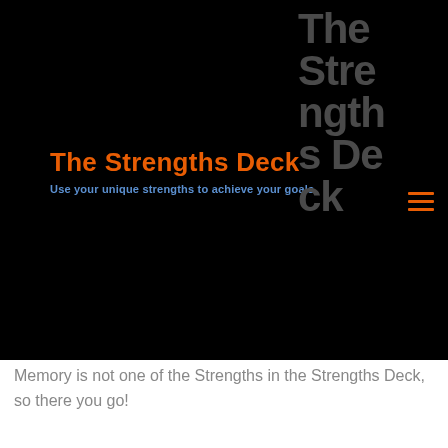[Figure (screenshot): Website header with black background showing 'The Strengths Deck' logo in orange bold text and subtitle in blue, with large grey vertical text 'The Strengths Deck' on right side and orange hamburger menu icon]
The Strengths Deck
Use your unique strengths to achieve your goals
Memory is not one of the Strengths in the Strengths Deck, so there you go!